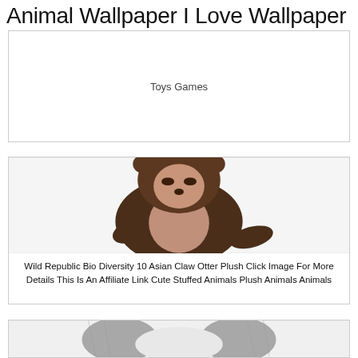Animal Wallpaper I Love Wallpaper
Toys Games
[Figure (photo): A brown and beige otter plush stuffed animal standing upright against a white background, showing its lighter belly and face.]
Wild Republic Bio Diversity 10 Asian Claw Otter Plush Click Image For More Details This Is An Affiliate Link Cute Stuffed Animals Plush Animals Animals
[Figure (photo): Partial view of a gray and white animal (likely a cat or rabbit) from below, showing its belly/underside against a white background.]